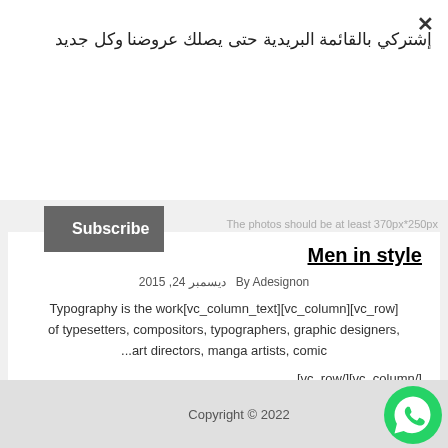إشتركي بالقائمة البريدية حتى يصلك عروضنا وكل جديد
Subscribe
The photos should be at least 370px*250px
Men in style
By Adesignon ديسمبر 24, 2015
Typography is the work[vc_column_text][vc_column][vc_row] of typesetters, compositors, typographers, graphic designers, ...art directors, manga artists, comic
[vc_row/][vc_column/]
Copyright © 2022